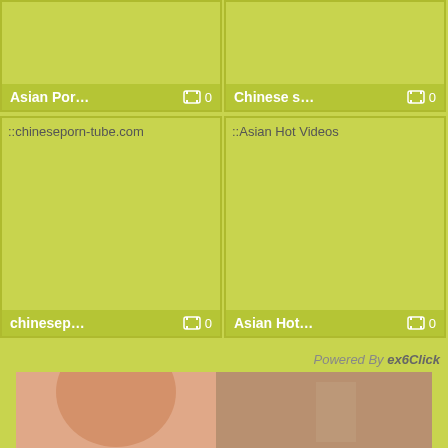[Figure (screenshot): Two video thumbnail cards in a row. Left card shows 'Asian Por...' with film icon and count 0. Right card shows 'Chinese s...' with film icon and count 0. Yellow-green background.]
[Figure (screenshot): Two video thumbnail cards in a row. Left card shows 'chinesep...' with placeholder image text 'chineseporn-tube.com', film icon and count 0. Right card shows 'Asian Hot...' with placeholder image text 'Asian Hot Videos', film icon and count 0.]
Powered By ex6Click
[Figure (photo): A photograph showing people in a room, appears to show backs and figures of individuals.]